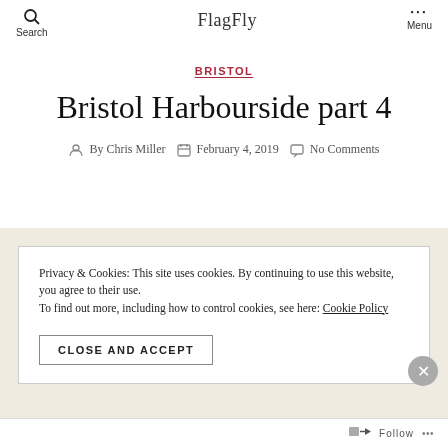Search | FlagFly | Menu
BRISTOL
Bristol Harbourside part 4
By Chris Miller   February 4, 2019   No Comments
Privacy & Cookies: This site uses cookies. By continuing to use this website, you agree to their use. To find out more, including how to control cookies, see here: Cookie Policy
CLOSE AND ACCEPT